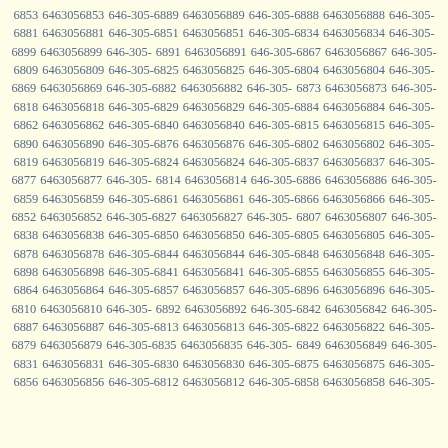6853 6463056853 646-305-6889 6463056889 646-305-6888 6463056888 646-305-6881 6463056881 646-305-6851 6463056851 646-305-6834 6463056834 646-305-6899 6463056899 646-305-6891 6463056891 646-305-6867 6463056867 646-305-6809 6463056809 646-305-6825 6463056825 646-305-6804 6463056804 646-305-6869 6463056869 646-305-6882 6463056882 646-305-6873 6463056873 646-305-6818 6463056818 646-305-6829 6463056829 646-305-6884 6463056884 646-305-6862 6463056862 646-305-6840 6463056840 646-305-6815 6463056815 646-305-6890 6463056890 646-305-6876 6463056876 646-305-6802 6463056802 646-305-6819 6463056819 646-305-6824 6463056824 646-305-6837 6463056837 646-305-6877 6463056877 646-305-6814 6463056814 646-305-6886 6463056886 646-305-6859 6463056859 646-305-6861 6463056861 646-305-6866 6463056866 646-305-6852 6463056852 646-305-6827 6463056827 646-305-6807 6463056807 646-305-6838 6463056838 646-305-6850 6463056850 646-305-6805 6463056805 646-305-6878 6463056878 646-305-6844 6463056844 646-305-6848 6463056848 646-305-6898 6463056898 646-305-6841 6463056841 646-305-6855 6463056855 646-305-6864 6463056864 646-305-6857 6463056857 646-305-6896 6463056896 646-305-6810 6463056810 646-305-6892 6463056892 646-305-6842 6463056842 646-305-6887 6463056887 646-305-6813 6463056813 646-305-6822 6463056822 646-305-6879 6463056879 646-305-6835 6463056835 646-305-6849 6463056849 646-305-6831 6463056831 646-305-6830 6463056830 646-305-6875 6463056875 646-305-6856 6463056856 646-305-6812 6463056812 646-305-6858 6463056858 646-305-